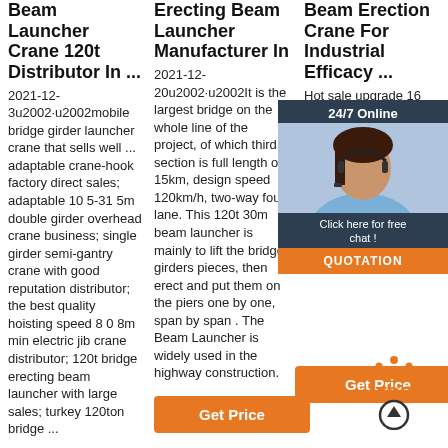Beam Launcher Crane 120t Distributor In ...
2021-12-3u2002·u2002mobile bridge girder launcher crane that sells well ... adaptable crane-hook factory direct sales; adaptable 10 5-31 5m double girder overhead crane business; single girder semi-gantry crane with good reputation distributor; the best quality hoisting speed 8 0 8m min electric jib crane distributor; 120t bridge erecting beam launcher with large sales; turkey 120ton bridge ...
Erecting Beam Launcher Manufacturer In
2021-12-20u2002·u2002It is the largest bridge on the whole line of the project, of which third section is full length of 15km, design speed 120km/h, two-way four lane. This 120t 30m beam launcher is mainly to lift the bridge girders pieces, then erect and put them on the piers one by one, span by span . The Beam Launcher is widely used in the highway construction.
Get Price
Beam Erection Crane For Industrial Efficacy ...
Hot sale upgrade 16 ton 20 m girder b... overhea... bridge c... europe... worksho... years w... $2,000.... Set
Get Price
[Figure (photo): Chat support agent with 24/7 Online overlay and QUOTATION button]
[Figure (illustration): TOP scroll-to-top icon with orange dots and upward arrow circle]